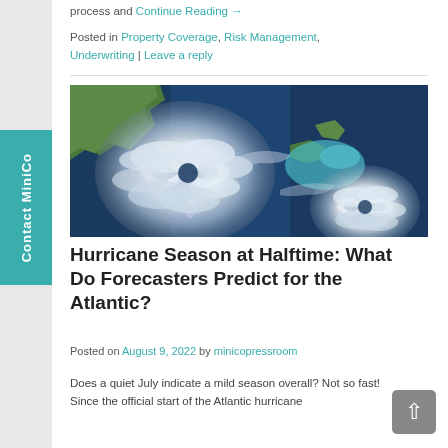process and Continue Reading →
Posted in Property Coverage, Risk Management, Underwriting | Leave a reply
[Figure (photo): Satellite image of two hurricanes over the Atlantic Ocean and Gulf of Mexico, showing swirling storm systems with green landmasses and blue ocean water.]
Hurricane Season at Halftime: What Do Forecasters Predict for the Atlantic?
Posted on August 9, 2022 by minicopressroom
Does a quiet July indicate a mild season overall? Not so fast! Since the official start of the Atlantic hurricane